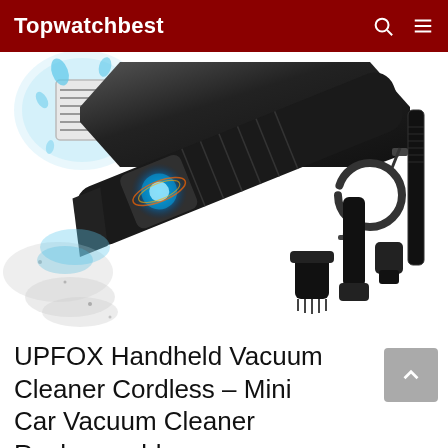Topwatchbest
[Figure (photo): UPFOX handheld cordless vacuum cleaner shown with accessories including brush attachment, extension tube, USB charging cable, and multiple nozzle attachments. The vacuum has a transparent body showing blue LED motor light and is shown expelling dust. A water-splash filter image appears in the top left corner.]
UPFOX Handheld Vacuum Cleaner Cordless - Mini Car Vacuum Cleaner Rechargeable